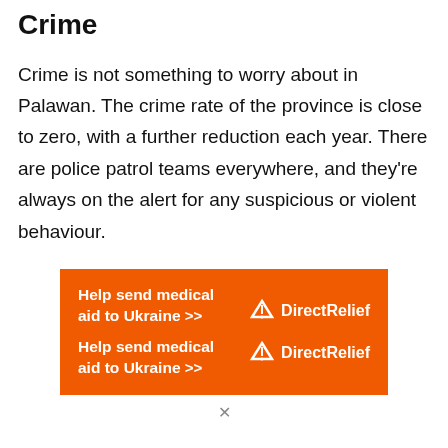Crime
Crime is not something to worry about in Palawan. The crime rate of the province is close to zero, with a further reduction each year. There are police patrol teams everywhere, and they’re always on the alert for any suspicious or violent behaviour.
[Figure (other): Orange advertisement banner for Direct Relief charity. Text reads: 'Help send medical aid to Ukraine >>' repeated twice, with DirectRelief logo appearing twice on the right side.]